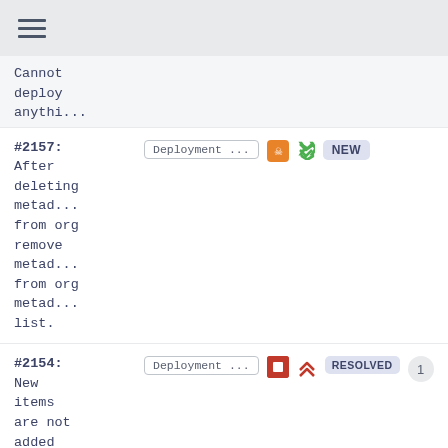≡
Cannot deploy anythi...
#2157: After deleting metad... from org remove metad... from org metad... list.
Deployment ...  [skull icon]  [double-chevron-down]  NEW
#2154: New items are not added to metad... subse...
Deployment ...  [stop icon]  [double-chevron-up]  RESOLVED  1